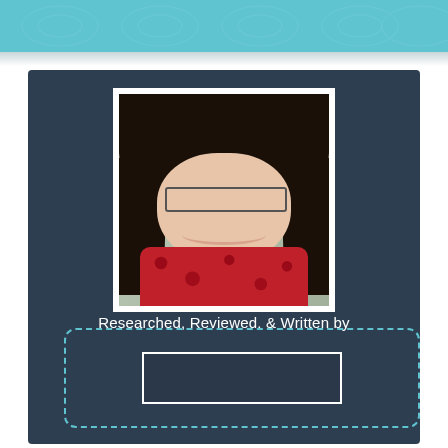[Figure (photo): Top decorative teal/cyan banner with swirl pattern]
[Figure (photo): Portrait photo of a woman with dark curly hair and bangs, wearing glasses and a red patterned shirt, smiling, set in a white-bordered frame on a dark navy card]
Researched, Reviewed, & Written by
[Figure (other): Dashed teal border box containing a smaller white-bordered dark rectangle, likely a name/logo placeholder]